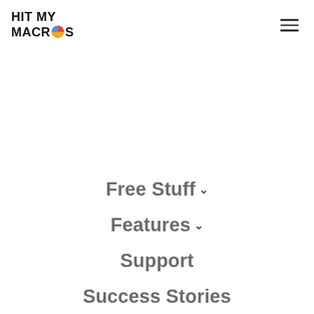HIT MY MACROS (logo with hamburger menu)
Free Stuff ∨
Features ∨
Support
Success Stories